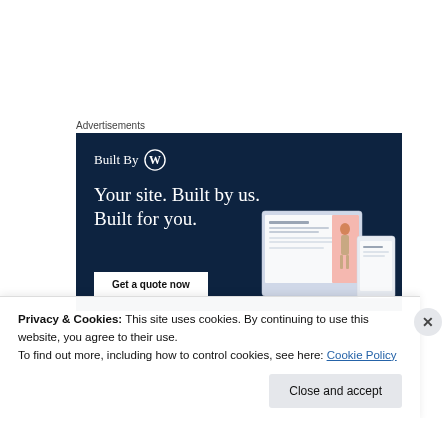Advertisements
[Figure (screenshot): WordPress 'Built By' advertisement banner with dark navy background showing WordPress logo, headline 'Your site. Built by us. Built for you.', a 'Get a quote now' button, and mockup screens with a fashion photo.]
Privacy & Cookies: This site uses cookies. By continuing to use this website, you agree to their use.
To find out more, including how to control cookies, see here: Cookie Policy
Close and accept